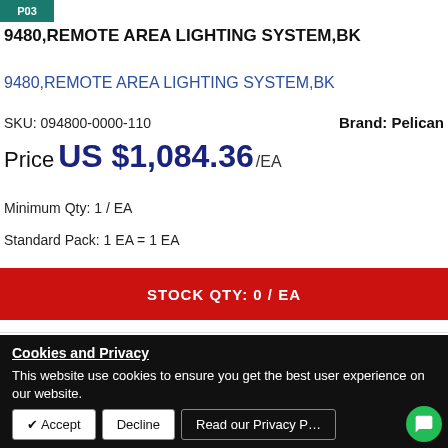[Figure (other): Teal/green badge icon with text 'P03']
9480,REMOTE AREA LIGHTING SYSTEM,BK
9480,REMOTE AREA LIGHTING SYSTEM,BK
SKU: 094800-0000-110
Brand: Pelican
Price US $1,084.36 /EA
Minimum Qty: 1 / EA
Standard Pack: 1 EA = 1 EA
STOCK QTY: 0 / EA
1
Cookies and Privacy
This website use cookies to ensure you get the best user experience on our website.
✔ Accept  Decline  Read our Privacy P…